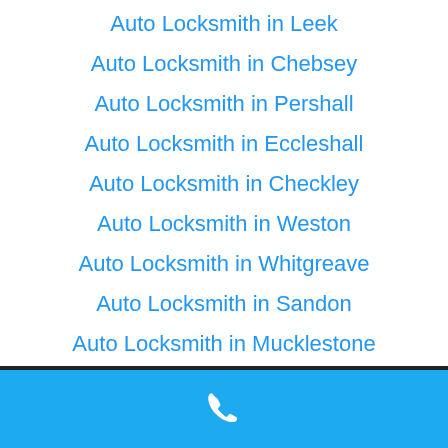Auto Locksmith in Leek
Auto Locksmith in Chebsey
Auto Locksmith in Pershall
Auto Locksmith in Eccleshall
Auto Locksmith in Checkley
Auto Locksmith in Weston
Auto Locksmith in Whitgreave
Auto Locksmith in Sandon
Auto Locksmith in Mucklestone
[Figure (illustration): White phone handset icon on blue background footer bar]